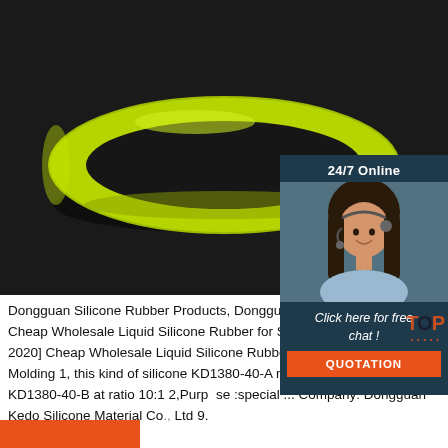[Figure (photo): A yellow-green silicone rubber wristband/bracelet on a dark background]
[Figure (photo): 24/7 Online chat widget with a female customer service representative wearing a headset, a 'Click here for free chat!' message, and a QUOTATION button]
Dongguan Silicone Rubber Products, Dongguan Sili... Cheap Wholesale Liquid Silicone Rubber for Silicon Molding. [May 28, 2020] Cheap Wholesale Liquid Silicone Rubber For Silicone Product Molding 1, this kind of silicone KD1380-40-A mixed with own catalyst KD1380-40-B at ratio 10:1 2,Purpose :special ... Company: Dongguan Kedo Silicone Material Co., Ltd 9.
[Figure (other): Orange/red rectangle bar at the bottom left]